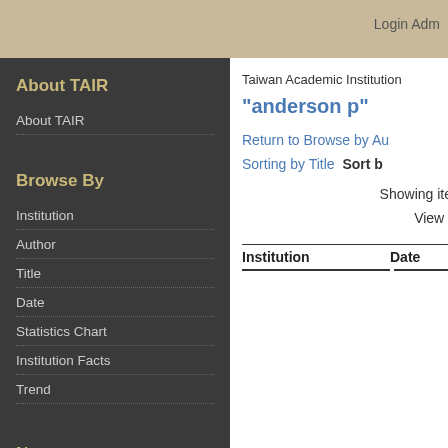Login Adm
About TAIR
About TAIR
Browse By
Institution
Author
Title
Date
Statistics Chart
Institution Facts
Trend
News
2019臺灣學術機構典藏
Taiwan Academic Institution
"anderson p"
Return to Browse by Au
Sorting by Title  Sort b
Showing ite
View [
| Institution | Date |
| --- | --- |